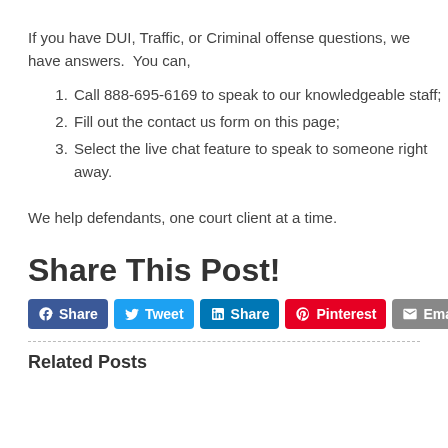If you have DUI, Traffic, or Criminal offense questions, we have answers.  You can,
Call 888-695-6169 to speak to our knowledgeable staff;
Fill out the contact us form on this page;
Select the live chat feature to speak to someone right away.
We help defendants, one court client at a time.
Share This Post!
[Figure (other): Social share buttons: Facebook Share, Tweet, LinkedIn Share, Pinterest, Email]
Related Posts